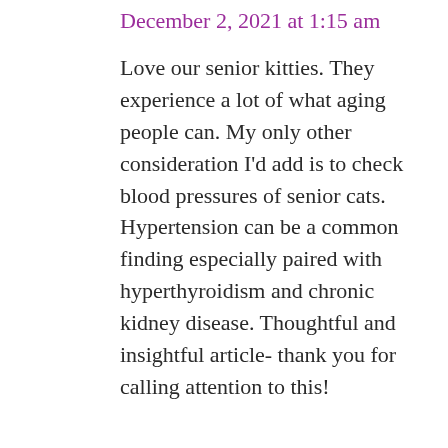December 2, 2021 at 1:15 am
Love our senior kitties. They experience a lot of what aging people can. My only other consideration I'd add is to check blood pressures of senior cats. Hypertension can be a common finding especially paired with hyperthyroidism and chronic kidney disease. Thoughtful and insightful article- thank you for calling attention to this!